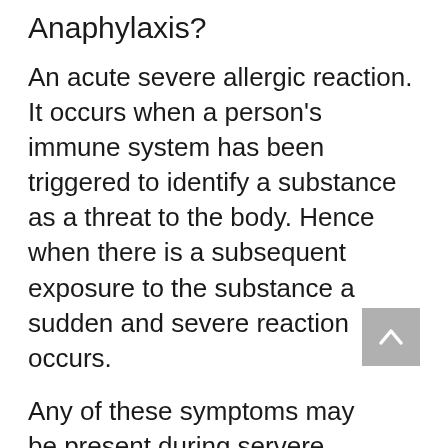Anaphylaxis?
An acute severe allergic reaction. It occurs when a person's immune system has been triggered to identify a substance as a threat to the body. Hence when there is a subsequent exposure to the substance a sudden and severe reaction occurs.
Any of these symptoms may be present during servere allgeric reaction.
Circulation-dizziness, chest pain, weak pulse, loss of consciousness, fast heartbeat